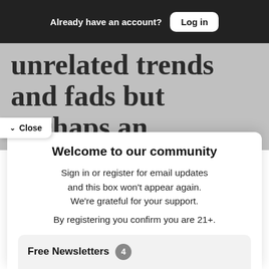Already have an account? Log in
unrelated trends and fads but perhaps an unconscious
Close
Welcome to our community
Sign in or register for email updates and this box won't appear again. We're grateful for your support.
By registering you confirm you are 21+.
Free Newsletters 4
Pacific Sun Newsletter (weekly)
News stories, arts and dining